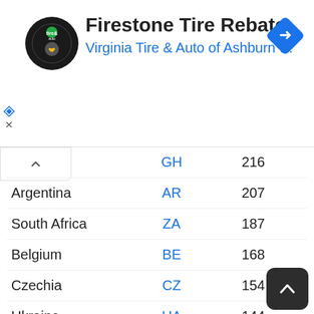[Figure (screenshot): Advertisement banner for Firestone Tire Rebate by Virginia Tire & Auto of Ashburn with logo and navigation arrow icon]
| Country | Code | Value |
| --- | --- | --- |
| (GH) | GH | 216 |
| Argentina | AR | 207 |
| South Africa | ZA | 187 |
| Belgium | BE | 168 |
| Czechia | CZ | 154 |
| Ukraine | UA | 144 |
| Japan | JA | 144 |
| Morocco | MA | 139 |
| South Korea | KO | 135 |
| Lebanon | LB | 130 |
| Saudi Arabia | SA | 125 |